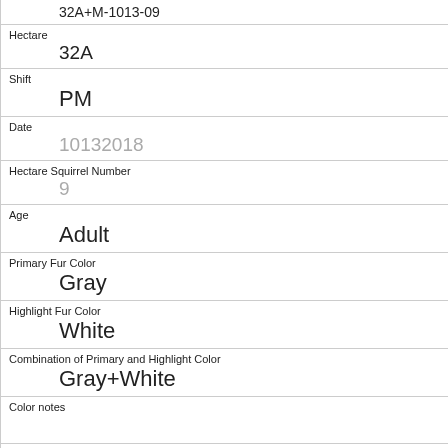32A+M-1013-09
Hectare
32A
Shift
PM
Date
10132018
Hectare Squirrel Number
9
Age
Adult
Primary Fur Color
Gray
Highlight Fur Color
White
Combination of Primary and Highlight Color
Gray+White
Color notes
Location
Ground Plane